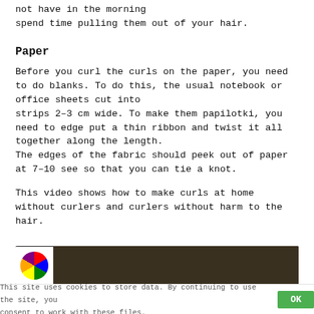not have in the morning
spend time pulling them out of your hair.
Paper
Before you curl the curls on the paper, you need to do blanks. To do this, the usual notebook or office sheets cut into
strips 2–3 cm wide. To make them papilotki, you need to edge put a thin ribbon and twist it all together along the length.
The edges of the fabric should peek out of paper at 7–10 see so that you can tie a knot.
This video shows how to make curls at home without curlers and curlers without harm to the hair.
[Figure (screenshot): Partial video thumbnail showing a dark background with a circular colorful logo/icon on the left side.]
This site uses cookies to store data. By continuing to use the site, you consent to work with these files.